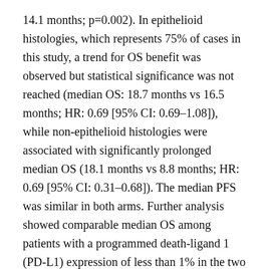14.1 months; p=0.002). In epithelioid histologies, which represents 75% of cases in this study, a trend for OS benefit was observed but statistical significance was not reached (median OS: 18.7 months vs 16.5 months; HR: 0.69 [95% CI: 0.69–1.08]), while non-epithelioid histologies were associated with significantly prolonged median OS (18.1 months vs 8.8 months; HR: 0.69 [95% CI: 0.31–0.68]). The median PFS was similar in both arms. Further analysis showed comparable median OS among patients with a programmed death-ligand 1 (PD-L1) expression of less than 1% in the two study arms. Conversely, in patients with PD-L1 expression of 1% or higher, the treatment of